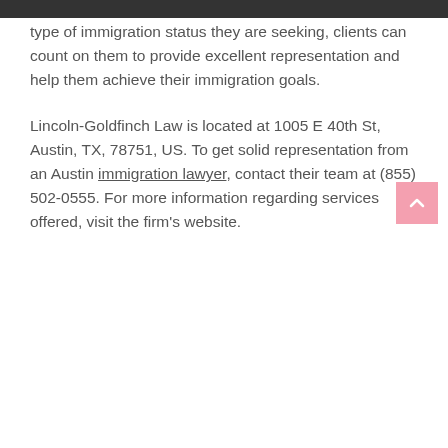type of immigration status they are seeking, clients can count on them to provide excellent representation and help them achieve their immigration goals.
Lincoln-Goldfinch Law is located at 1005 E 40th St, Austin, TX, 78751, US. To get solid representation from an Austin immigration lawyer, contact their team at (855) 502-0555. For more information regarding services offered, visit the firm’s website.